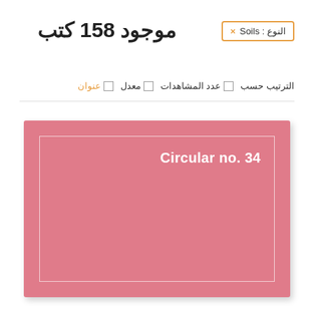النوع : Soils ×
موجود 158 كتب
الترتيب حسب □ عدد المشاهدات □ معدل □ عنوان
[Figure (illustration): Pink book card with white inner border and bold white text reading 'Circular no. 34']